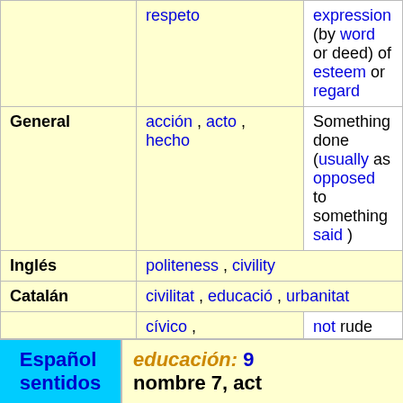|  | Spanish | Definition |
| --- | --- | --- |
|  | respeto | (expression by word or deed) of esteem or regard |
| General | acción , acto , hecho | Something done (usually as opposed to something said) |
| Inglés | politeness , civility |  |
| Catalán | civilitat , educació , urbanitat |  |
| Adjetivo | cívico , correcto , cortés , cumplido , educado | not rude |
|  | educado | showing regard for others in manners , speech , behavior , etc. |
Español educación: 9 sentidos nombre 7, act...